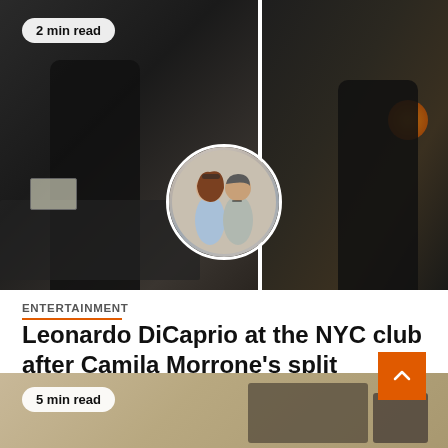[Figure (photo): Main article photo showing a man in dark clothing and cap photographed by paparazzi at night in NYC, with a circular inset showing a couple (woman with sunglasses on head and man in grey shirt) together outdoors. Badge reads '2 min read'.]
2 min read
ENTERTAINMENT
Leonardo DiCaprio at the NYC club after Camila Morrone's split
September 1, 2022   Faye Hodges
[Figure (photo): Partial bottom preview of another article with '5 min read' badge and some equipment visible on a tan/brown background.]
5 min read